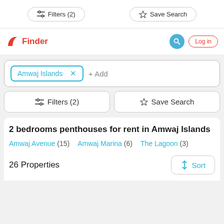[Figure (screenshot): Top bar with Filters (2) and Save Search buttons from a previous scroll position]
Finder | Log in
Amwaj Islands × + Add
⇄ Filters (2)   ☆ Save Search
2 bedrooms penthouses for rent in Amwaj Islands
Amwaj Avenue (15)   Amwaj Marina (6)   The Lagoon (3)
26 Properties
↑↓ Sort